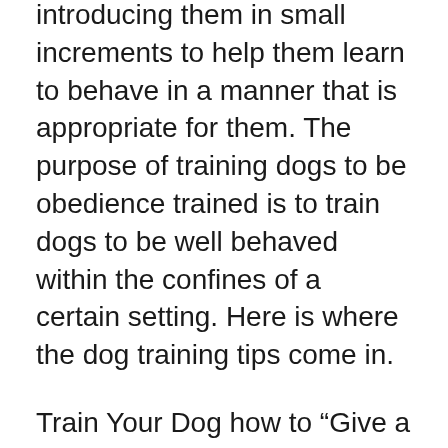introducing them in small increments to help them learn to behave in a manner that is appropriate for them. The purpose of training dogs to be obedience trained is to train dogs to be well behaved within the confines of a certain setting. Here is where the dog training tips come in.
Train Your Dog how to “Give a Treat” When They’re Doing Things Right If your dog does something good, give them treats and lots of praise. However, don’t just give them the reward when they make a mistake. Instead, you should correct them with an affirmative or a reprimand whenever they accomplish something nice.
If you are wondering how to teach your dog